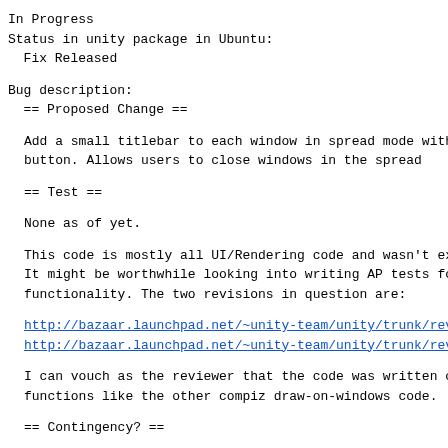In Progress
Status in unity package in Ubuntu:
  Fix Released
Bug description:
  == Proposed Change ==
Add a small titlebar to each window in spread mode with jus
button. Allows users to close windows in the spread
== Test ==
None as of yet.
This code is mostly all UI/Rendering code and wasn't exactl
It might be worthwhile looking into writing AP tests for th
functionality. The two revisions in question are:
http://bazaar.launchpad.net/~unity-team/unity/trunk/revisio
http://bazaar.launchpad.net/~unity-team/unity/trunk/revisio
I can vouch as the reviewer that the code was written corre
functions like the other compiz draw-on-windows code.
== Contingency? ==